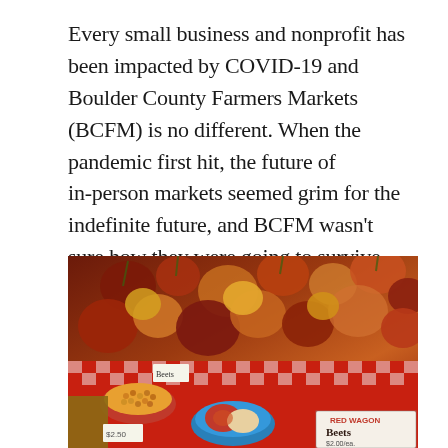Every small business and nonprofit has been impacted by COVID-19 and Boulder County Farmers Markets (BCFM) is no different. When the pandemic first hit, the future of in-person markets seemed grim for the indefinite future, and BCFM wasn't sure how they were going to survive.
[Figure (photo): A farmers market display table covered with a red and white checkered cloth, piled with colorful beets (red, golden, and striped varieties). In the foreground are small plates of lentils and sliced/prepared beets, with handwritten price signs including one that reads 'Beets'.]